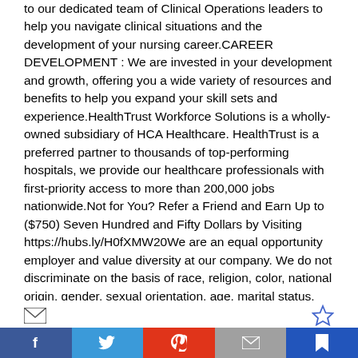to our dedicated team of Clinical Operations leaders to help you navigate clinical situations and the development of your nursing career.CAREER DEVELOPMENT : We are invested in your development and growth, offering you a wide variety of resources and benefits to help you expand your skill sets and experience.HealthTrust Workforce Solutions is a wholly-owned subsidiary of HCA Healthcare. HealthTrust is a preferred partner to thousands of top-performing hospitals, we provide our healthcare professionals with first-priority access to more than 200,000 jobs nationwide.Not for You? Refer a Friend and Earn Up to ($750) Seven Hundred and Fifty Dollars by Visiting https://hubs.ly/H0fXMW20We are an equal opportunity employer and value diversity at our company. We do not discriminate on the basis of race, religion, color, national origin, gender, sexual orientation, age, marital status, veteran status, or disability status.LOCATION: Spotsylvania Regional Medical Center - 4600 Spotsylvania Pkwy, Fredricksburg, VA 22408SHIFT TYPE: Day or Night ShiftJOB BOARD: EVID:
[Figure (infographic): Footer bar with email and star bookmark icons above a row of social media sharing buttons: Facebook, Twitter, Pinterest, Email, and Bookmark]